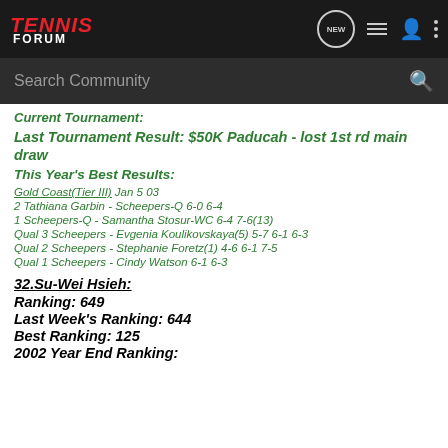TENNIS FORUM - navigation header with search bar
Current Tournament:
Last Tournament Result: $50K Paducah - lost 1st rd main draw
This Year's Best Results:
Gold Coast(Tier III) Jan 5 03
2 Tathiana Garbin - Scheepers-Q 6-0 6-4
1 Scheepers-Q - Samantha Stosur-WC 6-4 7-6(13)
Qual 3 Scheepers - Evgenia Koulikovskaya(5) 5-7 6-1 6-3
Qual 2 Scheepers - Stephanie Foretz(1) 4-6 6-1 7-5
Qual 1 Scheepers - Cindy Watson 6-1 6-3
32.Su-Wei Hsieh:
Ranking: 649
Last Week's Ranking: 644
Best Ranking: 125
2002 Year End Ranking: